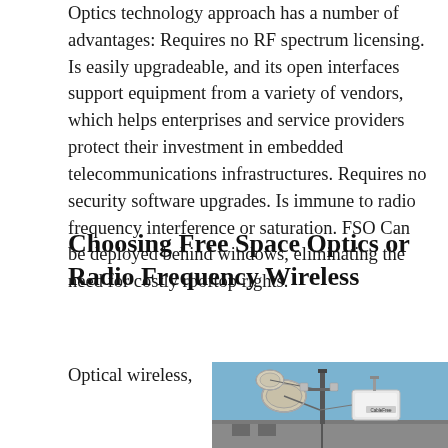Optics technology approach has a number of advantages: Requires no RF spectrum licensing. Is easily upgradeable, and its open interfaces support equipment from a variety of vendors, which helps enterprises and service providers protect their investment in embedded telecommunications infrastructures. Requires no security software upgrades. Is immune to radio frequency interference or saturation. FSO Can be deployed behind windows, eliminating the need for costly rooftop rights.
Choosing Free Space Optics or Radio Frequency Wireless
Optical wireless,
[Figure (photo): Photograph of wireless/antenna equipment including dish antennas and a CableFree branded device mounted on a building rooftop against a blue sky.]